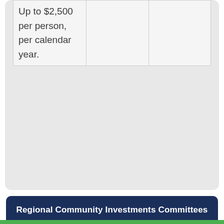| Up to $2,500 per person, per calendar year. |  |  |
Regional Community Investments Committees